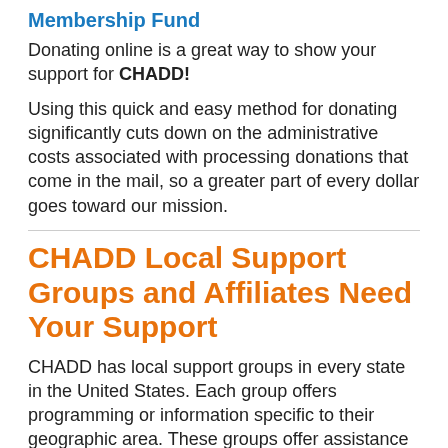Membership Fund
Donating online is a great way to show your support for CHADD!
Using this quick and easy method for donating significantly cuts down on the administrative costs associated with processing donations that come in the mail, so a greater part of every dollar goes toward our mission.
CHADD Local Support Groups and Affiliates Need Your Support
CHADD has local support groups in every state in the United States. Each group offers programming or information specific to their geographic area. These groups offer assistance for parents